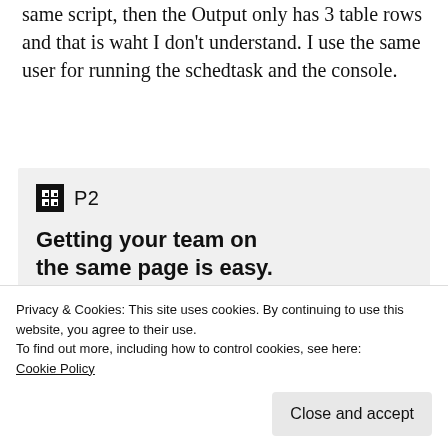same script, then the Output only has 3 table rows and that is waht I don't understand. I use the same user for running the schedtask and the console.
[Figure (screenshot): P2 advertisement banner with logo, headline 'Getting your team on the same page is easy. And free.' and user avatars including a blue plus button]
Privacy & Cookies: This site uses cookies. By continuing to use this website, you agree to their use.
To find out more, including how to control cookies, see here:
Cookie Policy
Close and accept